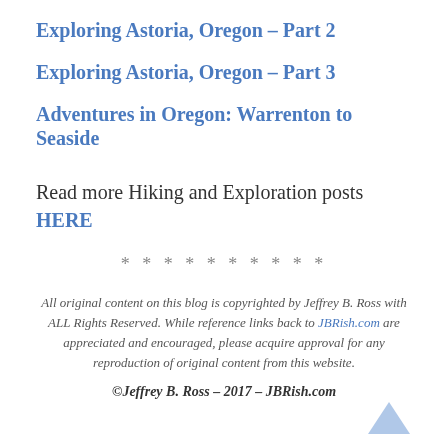Exploring Astoria, Oregon – Part 2
Exploring Astoria, Oregon – Part 3
Adventures in Oregon: Warrenton to Seaside
Read more Hiking and Exploration posts HERE
**********
All original content on this blog is copyrighted by Jeffrey B. Ross with ALL Rights Reserved. While reference links back to JBRish.com are appreciated and encouraged, please acquire approval for any reproduction of original content from this website.
©Jeffrey B. Ross – 2017 – JBRish.com